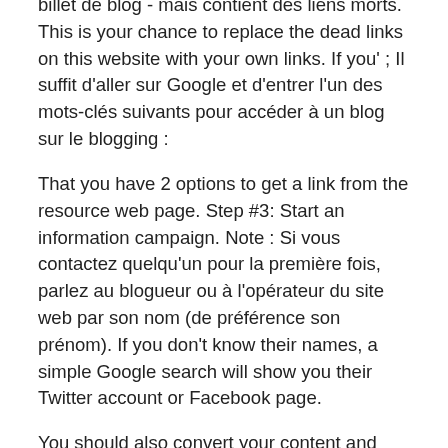billet de blog - mais contient des liens morts. This is your chance to replace the dead links on this website with your own links. If you' ; Il suffit d'aller sur Google et d'entrer l'un des mots-clés suivants pour accéder à un blog sur le blogging :
That you have 2 options to get a link from the resource web page. Step #3: Start an information campaign. Note : Si vous contactez quelqu'un pour la première fois, parlez au blogueur ou à l'opérateur du site web par son nom (de préférence son prénom). If you don't know their names, a simple Google search will show you their Twitter account or Facebook page.
You should also convert your content and use it on other platforms like Docstoc, scribd.com, Slideshare.net, etc. The more you can expand your reach on the right blogs with a large domain authority, the more valuable Link Juice you can direct to your blog pages. This will improve your chances of getting a Google ranking among the top 10 search results.
Vous work hard peut-être, mais vous n'avez pas encore fait de publicité active pour vos billets de blog. I think you should try it. Therefore it is called also "content marketing" and not simply simply "content". Start working smarter, not harder. A renowned